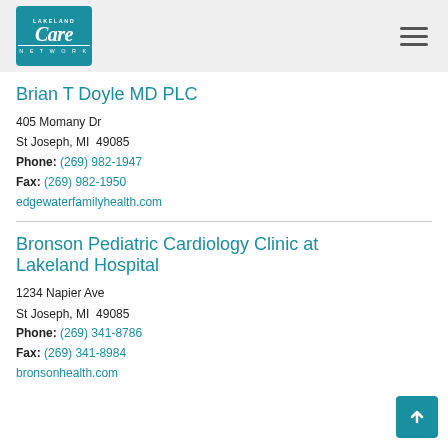[Figure (logo): Lakeland Care Network logo — teal box with script 'Care' text and 'LAKELAND' above and 'NETWORK' below]
Brian T Doyle MD PLC
405 Momany Dr
St Joseph, MI  49085
Phone: (269) 982-1947
Fax: (269) 982-1950
edgewaterfamilyhealth.com
Bronson Pediatric Cardiology Clinic at Lakeland Hospital
1234 Napier Ave
St Joseph, MI  49085
Phone: (269) 341-8786
Fax: (269) 341-8984
bronsonhealth.com